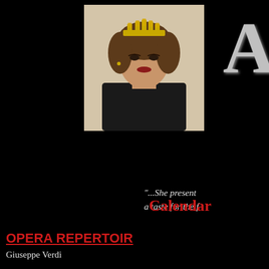[Figure (photo): Portrait photo of a woman wearing a gold crown/tiara and dark clothing, styled for an opera performance, against a light beige background]
A
"...She present a taste for the f
Calendar
OPERA REPERTOIR
Giuseppe Verdi